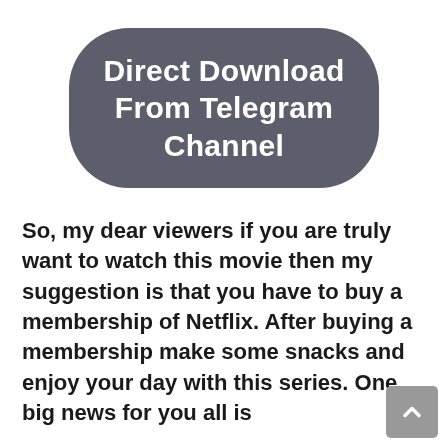[Figure (other): Dark rounded rectangle button badge with white bold text reading 'Direct Download From Telegram Channel']
So, my dear viewers if you are truly want to watch this movie then my suggestion is that you have to buy a membership of Netflix. After buying a membership make some snacks and enjoy your day with this series. One big news for you all is